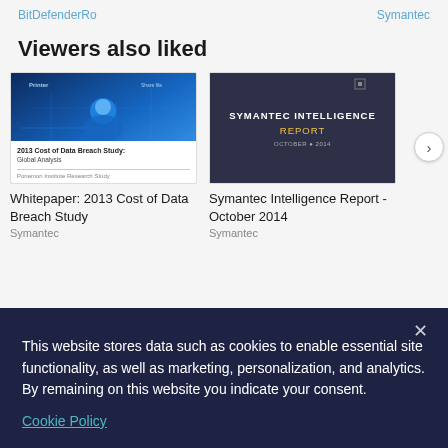BitDefenderRo
Symantec
Viewers also liked
[Figure (screenshot): Thumbnail of 2013 Cost of Data Breach Study whitepaper with blue digital background]
Whitepaper: 2013 Cost of Data Breach Study
Symantec
[Figure (screenshot): Thumbnail of Symantec Intelligence Report - dark background with gold/white title text]
Symantec Intelligence Report - October 2014
Symantec
This website stores data such as cookies to enable essential site functionality, as well as marketing, personalization, and analytics. By remaining on this website you indicate your consent.
Cookie Policy